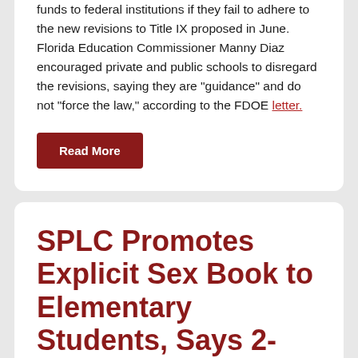funds to federal institutions if they fail to adhere to the new revisions to Title IX proposed in June. Florida Education Commissioner Manny Diaz encouraged private and public schools to disregard the revisions, saying they are "guidance" and do not "force the law," according to the FDOE letter.
Read More
SPLC Promotes Explicit Sex Book to Elementary Students, Says 2-